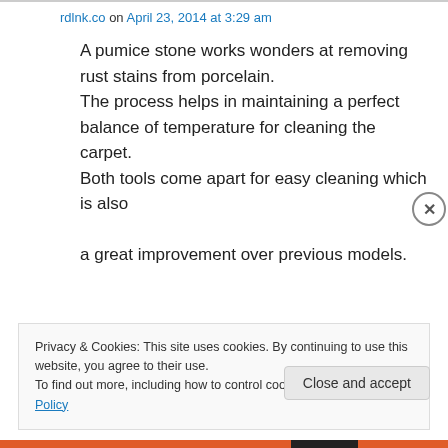rdlnk.co on April 23, 2014 at 3:29 am
A pumice stone works wonders at removing rust stains from porcelain.
The process helps in maintaining a perfect balance of temperature for cleaning the carpet.
Both tools come apart for easy cleaning which is also

a great improvement over previous models.
Privacy & Cookies: This site uses cookies. By continuing to use this website, you agree to their use.
To find out more, including how to control cookies, see here: Cookie Policy
Close and accept